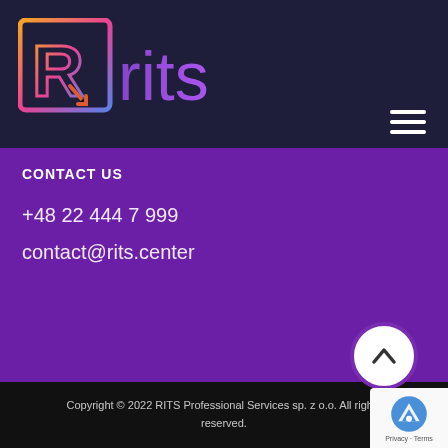[Figure (logo): RITS logo: stylized R icon in square bracket with orange/pink/blue gradient, followed by 'rits' text in purple gradient on dark navy background]
CONTACT US
+48 22 444 7 999
contact@rits.center
Copyright © 2022 RITS Professional Services sp. z o.o. All rights reserved.